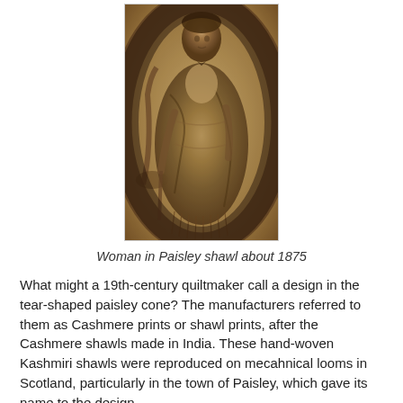[Figure (photo): Sepia-toned vintage photograph of a woman wearing a Paisley shawl, standing and holding what appears to be a staff or cane, circa 1875.]
Woman in Paisley shawl about 1875
What might a 19th-century quiltmaker call a design in the tear-shaped paisley cone? The manufacturers referred to them as Cashmere prints or shawl prints, after the Cashmere shawls made in India. These hand-woven Kashmiri shawls were reproduced on mecahnical looms in Scotland, particularly in the town of Paisley, which gave its name to the design.